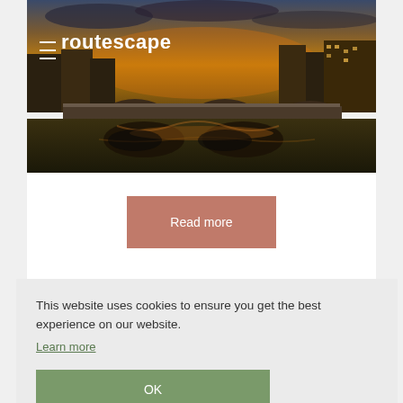[Figure (photo): A dusk/evening cityscape showing a river with a stone bridge, reflections on the water, and illuminated historic city buildings under a dramatic orange and blue sky. The 'routescape' logo and hamburger menu icon appear overlaid in white text on the upper left of the image.]
routescape
Read more
This website uses cookies to ensure you get the best experience on our website.
Learn more
OK
Experience a golden age in British food fuelled by leading